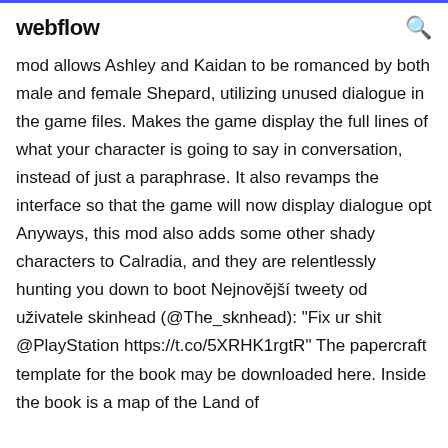webflow
mod allows Ashley and Kaidan to be romanced by both male and female Shepard, utilizing unused dialogue in the game files. Makes the game display the full lines of what your character is going to say in conversation, instead of just a paraphrase. It also revamps the interface so that the game will now display dialogue opt Anyways, this mod also adds some other shady characters to Calradia, and they are relentlessly hunting you down to boot Nejnovější tweety od uživatele skinhead (@The_sknhead): "Fix ur shit @PlayStation https://t.co/5XRHK1rgtR" The papercraft template for the book may be downloaded here. Inside the book is a map of the Land of